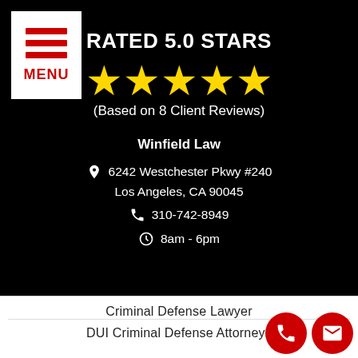[Figure (infographic): Menu button with three red horizontal lines and red MENU text on white background in top-left corner]
RATED 5.0 STARS
[Figure (infographic): Five gold star icons representing a 5.0 star rating]
(Based on 8 Client Reviews)
Winfield Law
6242 Westchester Pkwy #240
Los Angeles, CA 90045
310-742-8949
8am - 6pm
Criminal Defense Lawyer
DUI Criminal Defense Attorneys
[Figure (infographic): Two circular red buttons: phone icon and email icon]